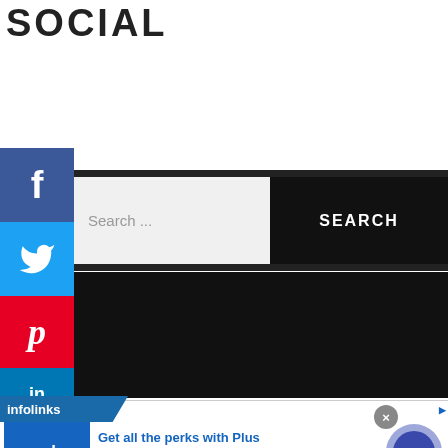SOCIAL
[Figure (screenshot): Social media share sidebar with Facebook, Twitter, Pinterest, LinkedIn, and Tumblr buttons on the left side]
Search ...
SEARCH
[Figure (screenshot): Dark black content area / advertisement section]
infolinks
[Figure (infographic): Sam's Club advertisement banner: Get all the perks with Plus. Free Shipping. Every day at SamsClub.com. Exclusions apply. www.samsclub.com]